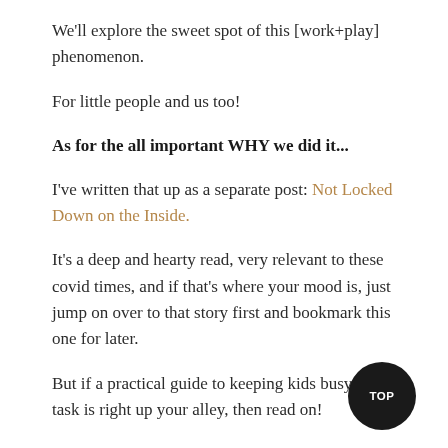We'll explore the sweet spot of this [work+play] phenomenon.
For little people and us too!
As for the all important WHY we did it...
I've written that up as a separate post: Not Locked Down on the Inside.
It's a deep and hearty read, very relevant to these covid times, and if that's where your mood is, just jump on over to that story first and bookmark this one for later.
But if a practical guide to keeping kids busy or task is right up your alley, then read on!